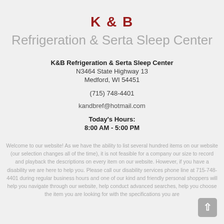K & B
Refrigeration & Serta Sleep Center
K&B Refrigeration & Serta Sleep Center
N3464 State Highway 13
Medford, WI 54451
(715) 748-4401
kandbref@hotmail.com
Today's Hours:
8:00 AM - 5:00 PM
Welcome to our website! As we have the ability to list several hundred items on our website (our selection changes all of the time), it is not feasible for a company our size to record and playback the descriptions on every item on our website. However, if you have a disability we are here to help you. Please call our disability services phone line at 715-748-4401 during regular business hours and one of our kind and friendly personal shoppers will help you navigate through our website, help conduct advanced searches, help you choose the item you are looking for with the specifications you are